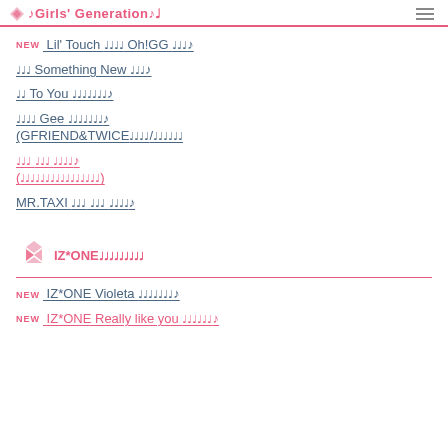♪Girls' Generation♪♪
NEW Lil' Touch ♩♩♩♩ Oh!GG ♩♩♩♪
♩♩♩ Something New ♩♩♩♪
♩♩ To You ♩♩♩♩♩♩♩♪
♩♩♩♩ Gee ♩♩♩♩♩♩♩♪
(GFRIEND&TWICE♩♩♩♩/♩♩♩♩♩♩
♩♩♩ ♩♩♩ ♩♩♩♩♪
(♩♩♩♩♩♩♩♩♩♩♩♩♩♩♩♩)
MR.TAXI ♩♩♩ ♩♩♩ ♩♩♩♩♪
IZ*ONE♩♩♩♩♩♩♩♩♩
NEW IZ*ONE Violeta ♩♩♩♩♩♩♩♪
NEW IZ*ONE Really like you ♩♩♩♩♩♩♪